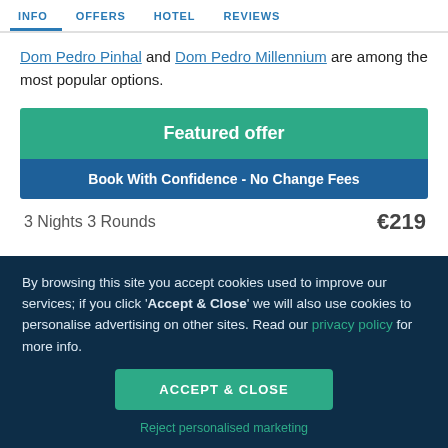INFO  OFFERS  HOTEL  REVIEWS
Dom Pedro Pinhal and Dom Pedro Millennium are among the most popular options.
Featured offer
Book With Confidence - No Change Fees
3 Nights 3 Rounds  €219
By browsing this site you accept cookies used to improve our services; if you click 'Accept & Close' we will also use cookies to personalise advertising on other sites. Read our privacy policy for more info.
ACCEPT & CLOSE
Reject personalised marketing